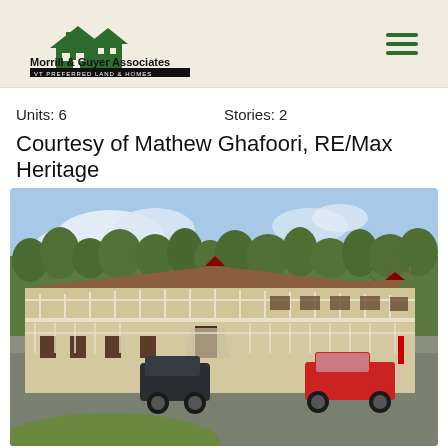[Figure (logo): Morrill & Guyer Associates VT Preferred Land & Homes logo with house icon]
Units: 6
Stories: 2
Courtesy of Mathew Ghafoori, RE/Max Heritage
[Figure (photo): Exterior photo of a two-story motel/multi-unit building with white railings and balconies, brown roof, surrounded by trees, with vehicles parked in front on a paved lot, green lawn in foreground]